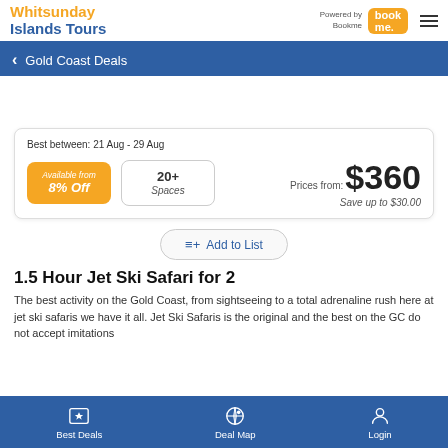Whitsunday Islands Tours — Powered by Bookme
Gold Coast Deals
Best between: 21 Aug - 29 Aug
Available from 8% Off | 20+ Spaces
Prices from: $360 Save up to $30.00
Add to List
1.5 Hour Jet Ski Safari for 2
The best activity on the Gold Coast, from sightseeing to a total adrenaline rush here at jet ski safaris we have it all. Jet Ski Safaris is the original and the best on the GC do not accept imitations
Best Deals | Deal Map | Login